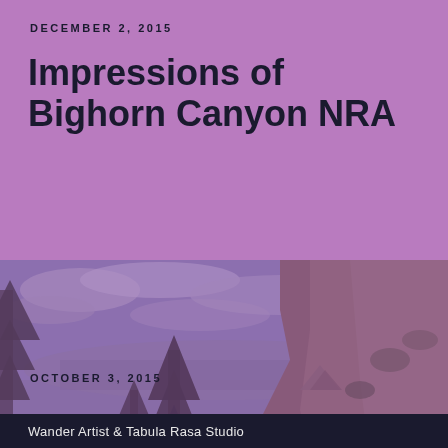DECEMBER 2, 2015
Impressions of Bighorn Canyon NRA
[Figure (photo): A purple-tinted landscape photograph of Bighorn Canyon NRA showing a hiker standing on a hillside trail with evergreen trees, scrubby vegetation, a canyon valley and distant mountains under a cloudy sky. The image has a strong violet/purple color overlay.]
OCTOBER 3, 2015
Wander Artist & Tabula Rasa Studio